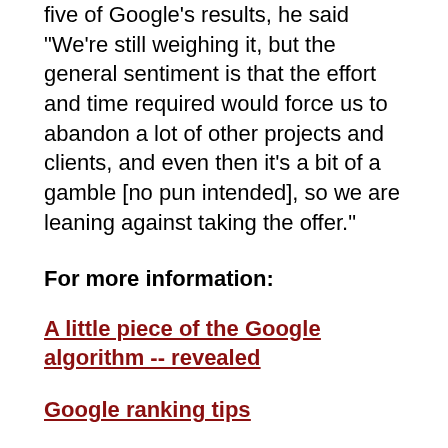five of Google's results, he said "We're still weighing it, but the general sentiment is that the effort and time required would force us to abandon a lot of other projects and clients, and even then it's a bit of a gamble [no pun intended], so we are leaning against taking the offer."
For more information:
A little piece of the Google algorithm -- revealed
Google ranking tips
The Google PageRank algorithm and how it